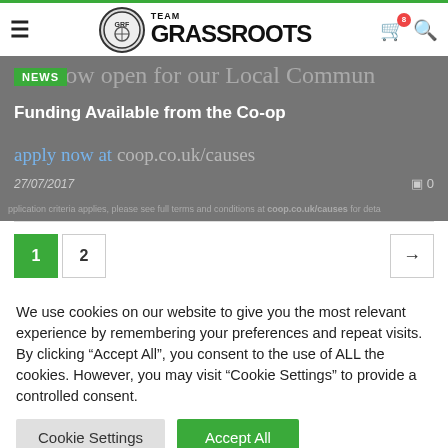TEAM GRASSROOTS
[Figure (screenshot): News article card with green NEWS tag, title 'Funding Available from the Co-op', date 27/07/2017, text about Co-op local community funding and coop.co.uk/causes URL]
1
2
We use cookies on our website to give you the most relevant experience by remembering your preferences and repeat visits. By clicking "Accept All", you consent to the use of ALL the cookies. However, you may visit "Cookie Settings" to provide a controlled consent.
Cookie Settings   Accept All